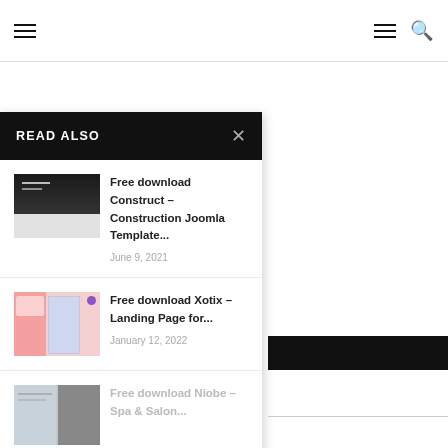Navigation bar with hamburger menus and search icon
READ ALSO
Free download Construct – Construction Joomla Template...
June 9, 2021
Free download Xotix – Landing Page for...
January 12, 2022
Free download Niobe – Spa & Salon...